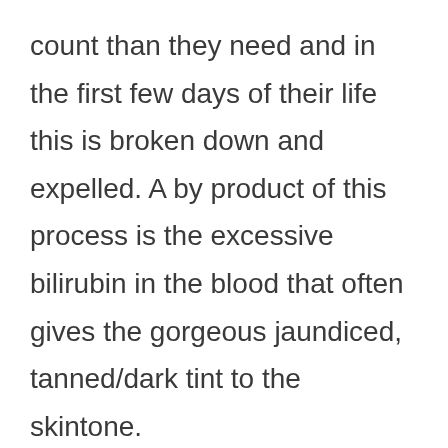count than they need and in the first few days of their life this is broken down and expelled. A by product of this process is the excessive bilirubin in the blood that often gives the gorgeous jaundiced, tanned/dark tint to the skintone.

The colour is much more subtle when applied!